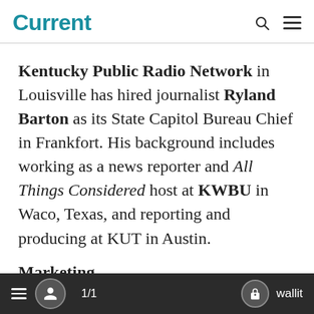Current
Kentucky Public Radio Network in Louisville has hired journalist Ryland Barton as its State Capitol Bureau Chief in Frankfort. His background includes working as a news reporter and All Things Considered host at KWBU in Waco, Texas, and reporting and producing at KUT in Austin.
Marketing
N... ...d Public Radio h... ...d
1/1  wallit